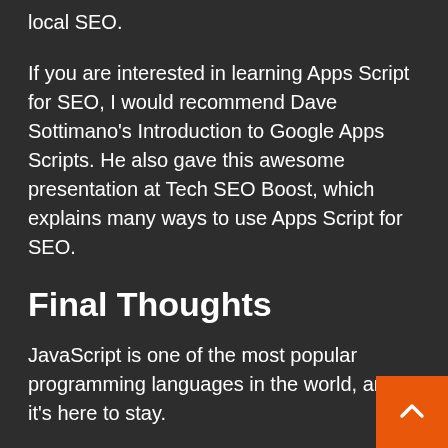local SEO.
If you are interested in learning Apps Script for SEO, I would recommend Dave Sottimano's Introduction to Google Apps Scripts. He also gave this awesome presentation at Tech SEO Boost, which explains many ways to use Apps Script for SEO.
Final Thoughts
JavaScript is one of the most popular programming languages in the world, and it's here to stay.
The open-source community is incredibly active and constantly bringing new developments in different verticals – from web development to machine lea… – making it a perfect language to learn as an SEO professional.